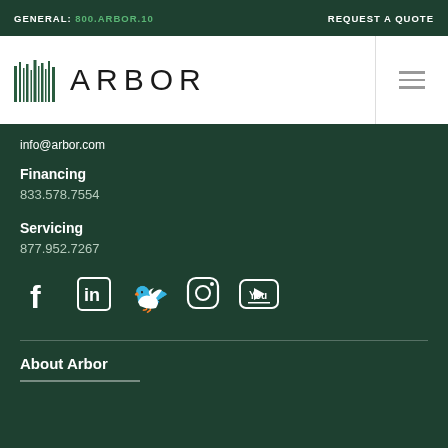GENERAL: 800.ARBOR.10    REQUEST A QUOTE
[Figure (logo): Arbor company logo with barcode-style tree icon and wordmark ARBOR]
info@arbor.com
Financing
833.578.7554
Servicing
877.952.7267
[Figure (illustration): Social media icons: Facebook, LinkedIn, Twitter, Instagram, YouTube]
About Arbor